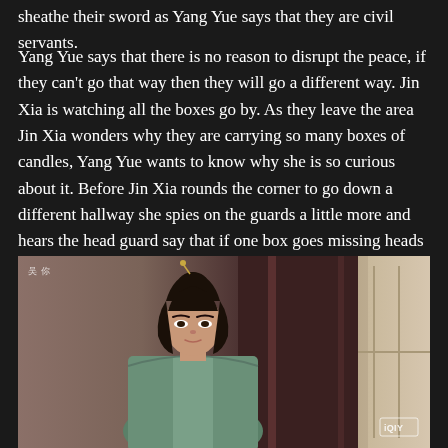sheathe their sword as Yang Yue says that they are civil servants.
Yang Yue says that there is no reason to disrupt the peace, if they can't go that way then they will go a different way. Jin Xia is watching all the boxes go by. As they leave the area Jin Xia wonders why they are carrying so many boxes of candles, Yang Yue wants to know why she is so curious about it. Before Jin Xia rounds the corner to go down a different hallway she spies on the guards a little more and hears the head guard say that if one box goes missing heads will roll. He then notices that Jin Xia is still watching him, so she quickly darts around the corner.
[Figure (photo): A young Asian woman in a light blue-green historical Chinese costume with dark hair styled up, looking directly at the camera with a neutral expression. Background shows an indoor setting with warm brown tones and a window visible on the right. An iQIY watermark is visible in the bottom right corner.]